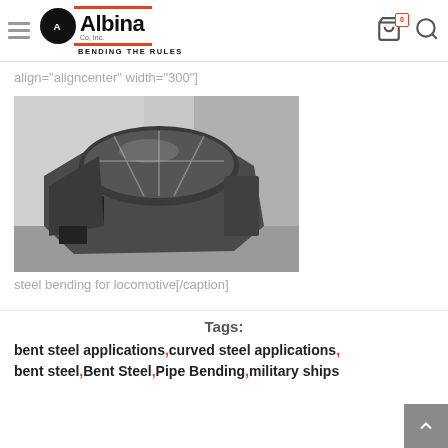Albina Co, Inc. — BENDING THE RULES
align="aligncenter" width="300"]
[Figure (photo): Bent and curved steel fabrication for a locomotive cab/nose structure, photographed outdoors showing the metal framework]
steel bending for locomotive[/caption]
Tags:
bent steel applications, curved steel applications, bent steel, Bent Steel, Pipe Bending, military ships